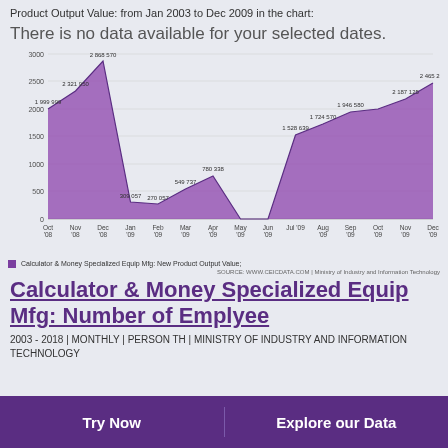Product Output Value: from Jan 2003 to Dec 2009 in the chart:
There is no data available for your selected dates.
[Figure (area-chart): Calculator & Money Specialized Equip Mfg: New Product Output Value]
Calculator & Money Specialized Equip Mfg: New Product Output Value;
SOURCE: WWW.CEICDATA.COM | Ministry of Industry and Information Technology
Calculator & Money Specialized Equip Mfg: Number of Emplyee
2003 - 2018 | MONTHLY | PERSON TH | MINISTRY OF INDUSTRY AND INFORMATION TECHNOLOGY
Try Now    Explore our Data